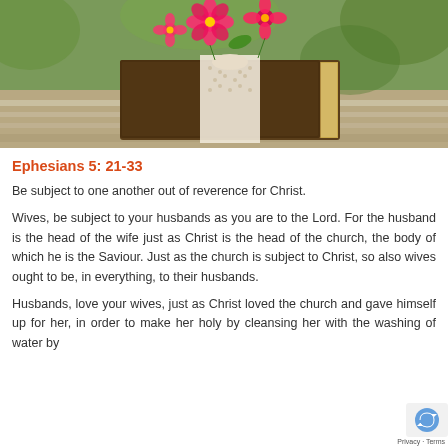[Figure (photo): A Bible on a wooden bench decorated with a lace ribbon and pink flowers on top]
Ephesians 5: 21-33
Be subject to one another out of reverence for Christ.
Wives, be subject to your husbands as you are to the Lord. For the husband is the head of the wife just as Christ is the head of the church, the body of which he is the Saviour. Just as the church is subject to Christ, so also wives ought to be, in everything, to their husbands.
Husbands, love your wives, just as Christ loved the church and gave himself up for her, in order to make her holy by cleansing her with the washing of water by